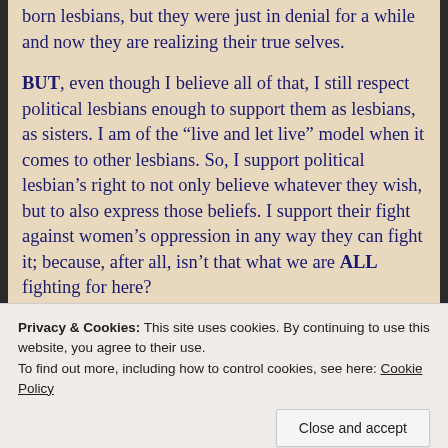born lesbians, but they were just in denial for a while and now they are realizing their true selves.

BUT, even though I believe all of that, I still respect political lesbians enough to support them as lesbians, as sisters. I am of the “live and let live” model when it comes to other lesbians. So, I support political lesbian’s right to not only believe whatever they wish, but to also express those beliefs. I support their fight against women’s oppression in any way they can fight it; because, after all, isn’t that what we are ALL fighting for here?
Privacy & Cookies: This site uses cookies. By continuing to use this website, you agree to their use.
To find out more, including how to control cookies, see here: Cookie Policy
Close and accept